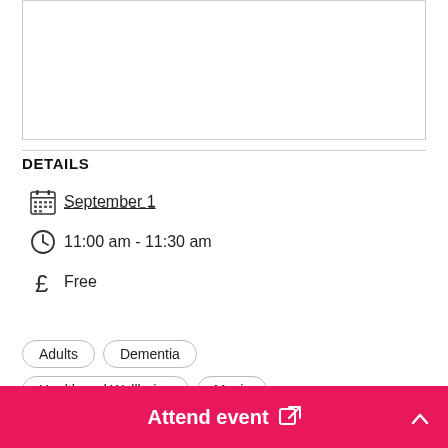[Figure (other): Empty white box with border at top of page]
DETAILS
September 1
11:00 am - 11:30 am
Free
Adults
Dementia
Health and Wellbeing
Music
Attend event